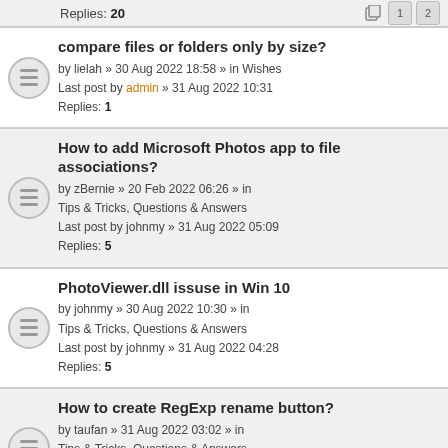Replies: 20
compare files or folders only by size? by lielah » 30 Aug 2022 18:58 » in Wishes Last post by admin » 31 Aug 2022 10:31 Replies: 1
How to add Microsoft Photos app to file associations? by zBernie » 20 Feb 2022 06:26 » in Tips & Tricks, Questions & Answers Last post by johnmy » 31 Aug 2022 05:09 Replies: 5
PhotoViewer.dll issuse in Win 10 by johnmy » 30 Aug 2022 10:30 » in Tips & Tricks, Questions & Answers Last post by johnmy » 31 Aug 2022 04:28 Replies: 5
How to create RegExp rename button? by taufan » 31 Aug 2022 03:02 » in Tips & Tricks, Questions & Answers Last post by jupe » 31 Aug 2022 03:36 Replies: 1
Thumbs don't update without auto rotate enabled